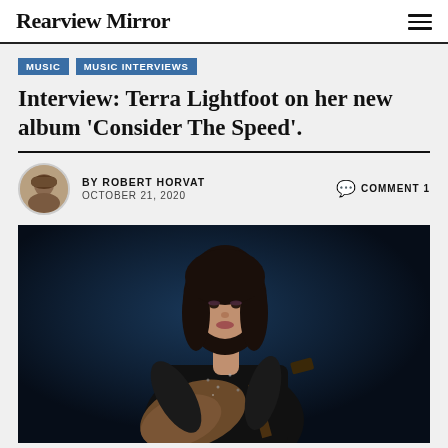Rearview Mirror
MUSIC   MUSIC INTERVIEWS
Interview: Terra Lightfoot on her new album 'Consider The Speed'.
BY ROBERT HORVAT   OCTOBER 21, 2020   COMMENT 1
[Figure (photo): Terra Lightfoot holding an electric guitar, wearing a black outfit, posed against a dark blue background]